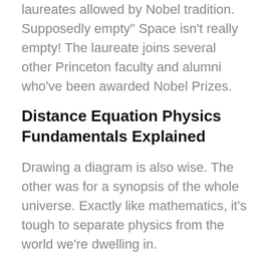laureates allowed by Nobel tradition. Supposedly empty" Space isn't really empty! The laureate joins several other Princeton faculty and alumni who've been awarded Nobel Prizes.
Distance Equation Physics Fundamentals Explained
Drawing a diagram is also wise. The other was for a synopsis of the whole universe. Exactly like mathematics, it's tough to separate physics from the world we're dwelling in.
What's small in 1 context might be large in another. As soon as the previous step in the scientific technique is tested over and over again and it's still not contracted, it's then called a law or principle. More important, the capacity to apply broad